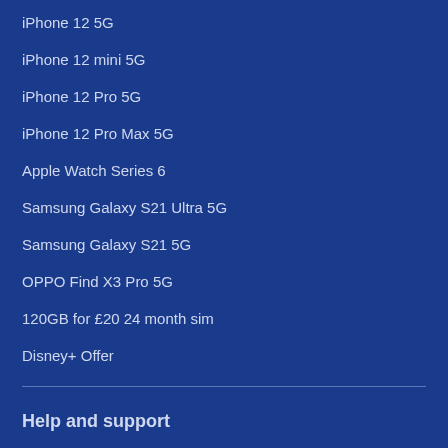iPhone 12 5G
iPhone 12 mini 5G
iPhone 12 Pro 5G
iPhone 12 Pro Max 5G
Apple Watch Series 6
Samsung Galaxy S21 Ultra 5G
Samsung Galaxy S21 5G
OPPO Find X3 Pro 5G
120GB for £20 24 month sim
Disney+ Offer
Help and support
Help home
Contact us
My O2
Collection and delivery